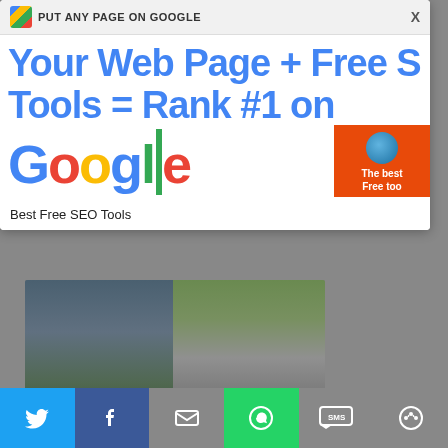[Figure (screenshot): Ad popup overlay: PUT ANY PAGE ON GOOGLE banner with headline 'Your Web Page + Free SEO Tools = Rank #1 on Google' with Google logo]
Best Free SEO Tools
[Figure (photo): Photo of building entrance with security personnel on left and road on right]
Top 53 Best Polytechnics in Nigeria revealed, Akwapoly makes Top list (Full list)
Akwapoly | Aug 22 2021
[Figure (infographic): Share bar with Twitter, Facebook, Email, WhatsApp, SMS, and More buttons]